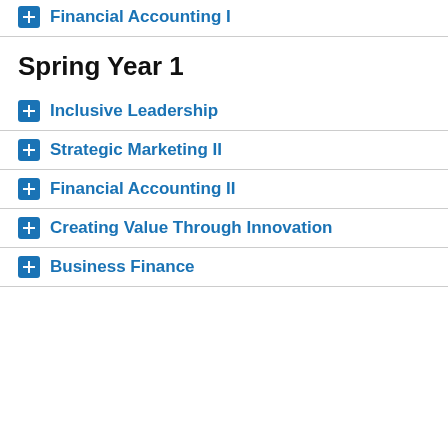Financial Accounting I
Spring Year 1
Inclusive Leadership
Strategic Marketing II
Financial Accounting II
Creating Value Through Innovation
Business Finance